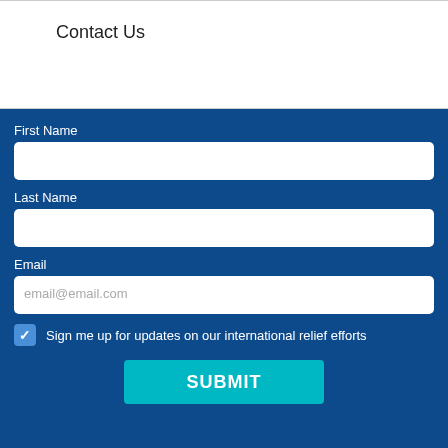Contact Us
First Name
Last Name
Email
email@email.com
Sign me up for updates on our international relief efforts
SUBMIT